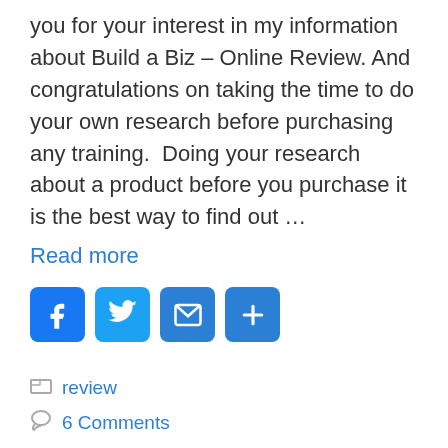you for your interest in my information about Build a Biz – Online Review. And congratulations on taking the time to do your own research before purchasing any training.  Doing your research about a product before you purchase it is the best way to find out …
Read more
[Figure (infographic): Four social sharing icon buttons: Facebook (blue), Twitter (blue), Email (blue envelope), Share/Add (blue plus)]
review
6 Comments
Clickwealth System Review